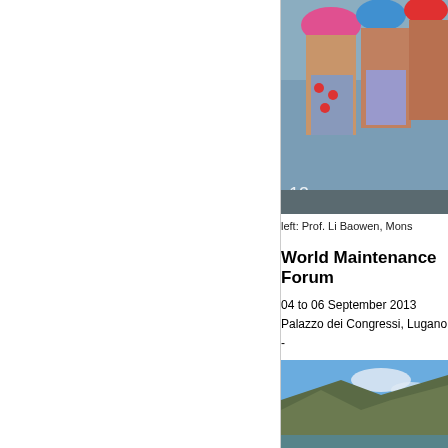[Figure (photo): Photo of people including Prof. Li Baowen, partially cropped at right edge, showing individuals wearing colorful hats outdoors. Number '13' visible in lower left of image.]
left: Prof. Li Baowen, Mons
World Maintenance Forum
04 to 06 September 2013
Palazzo dei Congressi, Lugano -
[Figure (photo): Landscape photo showing a mountainside or cliff with blue sky and some clouds.]